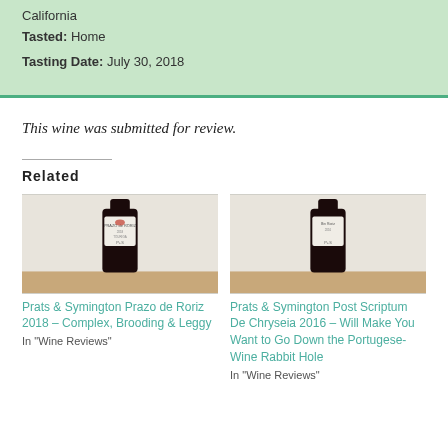California
Tasted: Home
Tasting Date: July 30, 2018
This wine was submitted for review.
Related
[Figure (photo): Wine bottle photo - Prats & Symington Prazo de Roriz 2018]
Prats & Symington Prazo de Roriz 2018 – Complex, Brooding & Leggy
In "Wine Reviews"
[Figure (photo): Wine bottle photo - Prats & Symington Post Scriptum De Chryseia 2016]
Prats & Symington Post Scriptum De Chryseia 2016 – Will Make You Want to Go Down the Portugese-Wine Rabbit Hole
In "Wine Reviews"